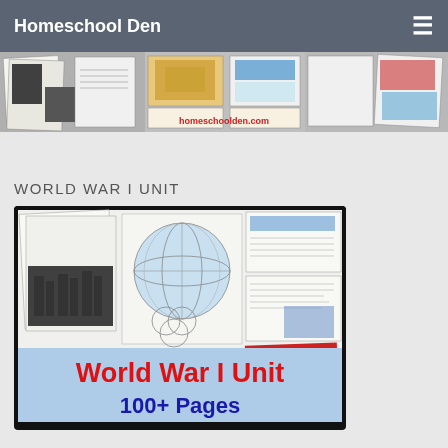Homeschool Den
[Figure (illustration): Banner showing homeschool worksheets, maps, and educational materials with homeschoolden.com URL]
WORLD WAR I UNIT
[Figure (illustration): World War I Unit product cover showing worksheets, a globe diagram, Venn diagram, photos, and list of topics: Causes of WWI, Weapons & Strategies of WWI, Russian Revolution, US Entry into WWI, 14 Points, Treaty of Versailles. Red title 'World War I Unit' and blue subtitle '100+ Pages']